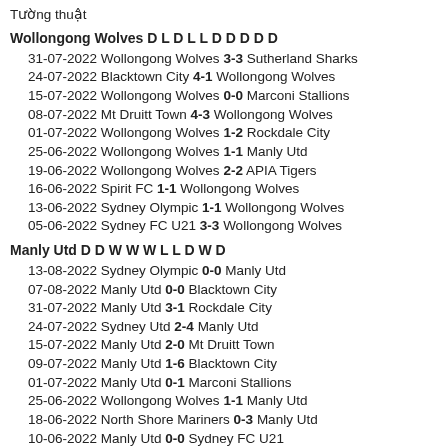Tường thuật
Wollongong Wolves D L D L L D D D D D
31-07-2022 Wollongong Wolves 3-3 Sutherland Sharks
24-07-2022 Blacktown City 4-1 Wollongong Wolves
15-07-2022 Wollongong Wolves 0-0 Marconi Stallions
08-07-2022 Mt Druitt Town 4-3 Wollongong Wolves
01-07-2022 Wollongong Wolves 1-2 Rockdale City
25-06-2022 Wollongong Wolves 1-1 Manly Utd
19-06-2022 Wollongong Wolves 2-2 APIA Tigers
16-06-2022 Spirit FC 1-1 Wollongong Wolves
13-06-2022 Sydney Olympic 1-1 Wollongong Wolves
05-06-2022 Sydney FC U21 3-3 Wollongong Wolves
Manly Utd D D W W W L L D W D
13-08-2022 Sydney Olympic 0-0 Manly Utd
07-08-2022 Manly Utd 0-0 Blacktown City
31-07-2022 Manly Utd 3-1 Rockdale City
24-07-2022 Sydney Utd 2-4 Manly Utd
15-07-2022 Manly Utd 2-0 Mt Druitt Town
09-07-2022 Manly Utd 1-6 Blacktown City
01-07-2022 Manly Utd 0-1 Marconi Stallions
25-06-2022 Wollongong Wolves 1-1 Manly Utd
18-06-2022 North Shore Mariners 0-3 Manly Utd
10-06-2022 Manly Utd 0-0 Sydney FC U21